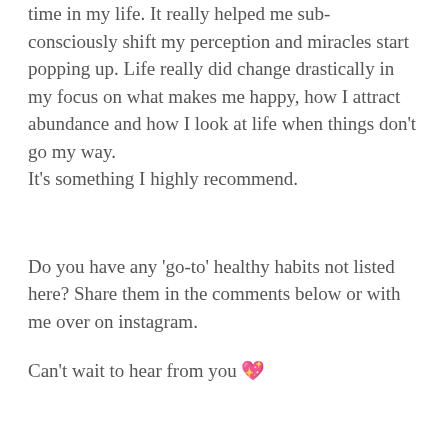time in my life. It really helped me sub-consciously shift my perception and miracles start popping up. Life really did change drastically in my focus on what makes me happy, how I attract abundance and how I look at life when things don’t go my way.
It’s something I highly recommend.
Do you have any ‘go-to’ healthy habits not listed here? Share them in the comments below or with me over on instagram.
Can’t wait to hear from you 💖